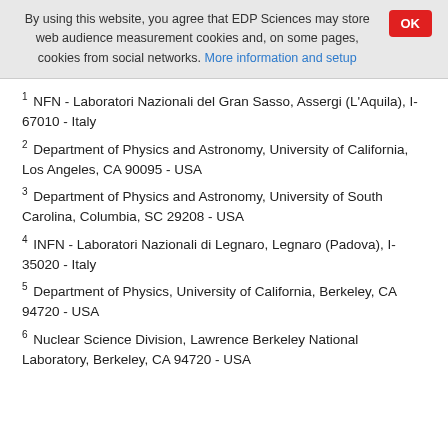By using this website, you agree that EDP Sciences may store web audience measurement cookies and, on some pages, cookies from social networks. More information and setup
1 NFN - Laboratori Nazionali del Gran Sasso, Assergi (L'Aquila), I-67010 - Italy
2 Department of Physics and Astronomy, University of California, Los Angeles, CA 90095 - USA
3 Department of Physics and Astronomy, University of South Carolina, Columbia, SC 29208 - USA
4 INFN - Laboratori Nazionali di Legnaro, Legnaro (Padova), I-35020 - Italy
5 Department of Physics, University of California, Berkeley, CA 94720 - USA
6 Nuclear Science Division, Lawrence Berkeley National Laboratory, Berkeley, CA 94720 - USA